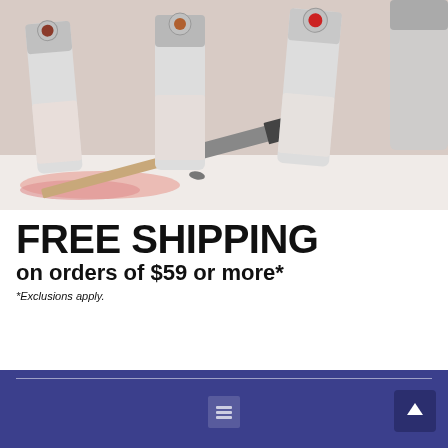[Figure (photo): Photo of paint tubes (metallic caps visible, red/brown/orange colors) with paintbrushes and pink paint streaks on white background]
FREE SHIPPING
on orders of $59 or more*
*Exclusions apply.
[Figure (logo): BLICK® logo in white bold text on black background banner]